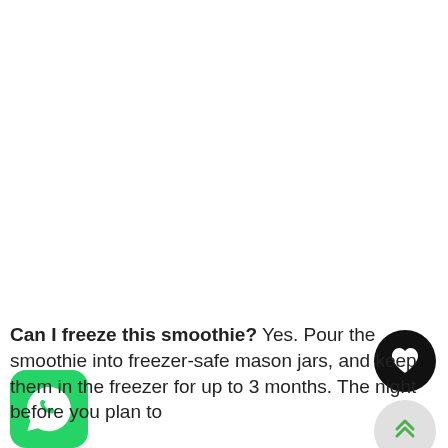[Figure (illustration): Black circular button with a white heart icon (favorite/like button)]
[Figure (illustration): Light grey circular button with green double-chevron up arrow (scroll-to-top button)]
[Figure (logo): WhatsApp app icon — green rounded square with white phone handset inside a speech bubble]
Can I freeze this smoothie? Yes. Pour the smoothie into freezer-safe mason jars, and keep them in the freezer for up to 3 months. The night before you plan to